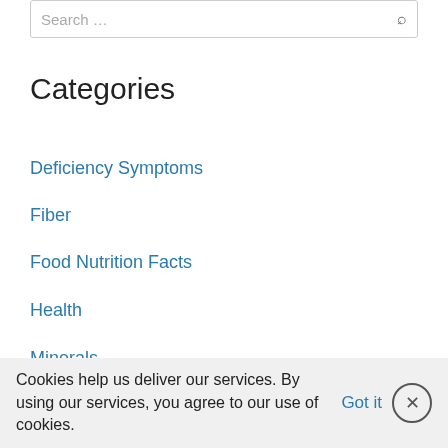Search …
Categories
Deficiency Symptoms
Fiber
Food Nutrition Facts
Health
Minerals
Nutrient Benefit…
Cookies help us deliver our services. By using our services, you agree to our use of cookies.   Got it